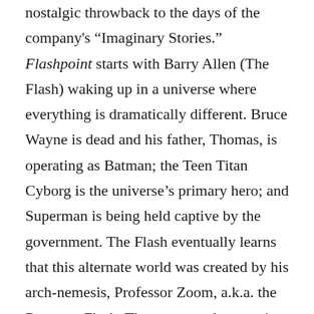nostalgic throwback to the days of the company's "Imaginary Stories." Flashpoint starts with Barry Allen (The Flash) waking up in a universe where everything is dramatically different. Bruce Wayne is dead and his father, Thomas, is operating as Batman; the Teen Titan Cyborg is the universe's primary hero; and Superman is being held captive by the government. The Flash eventually learns that this alternate world was created by his arch-nemesis, Professor Zoom, a.k.a. the Reverse-Flash. The mystery elements in this crossover and the light tone keep the narrative moving quickly. The story also manages to hit a number of emotional beats, including a teary exchange between Bruce Wayne and Barry Allen. On a larger scale, DC Comics used Flashpoint to build its New 52 concept by showing The